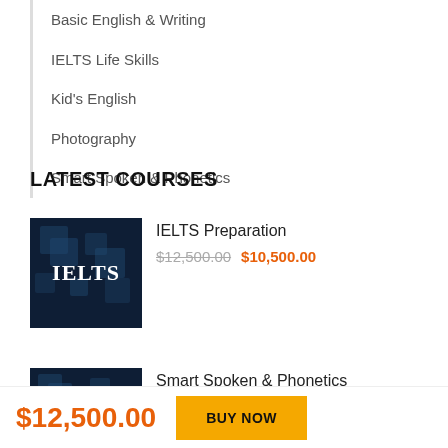Basic English & Writing
IELTS Life Skills
Kid's English
Photography
Smart Spoken & Phonetics
LATEST COURSES
[Figure (photo): Dark blue IELTS course thumbnail with cube decorations and white IELTS text]
IELTS Preparation
$12,500.00  $10,500.00
[Figure (photo): Dark blue course thumbnail for Smart Spoken & Phonetics]
Smart Spoken & Phonetics
$12,500.00  BUY NOW